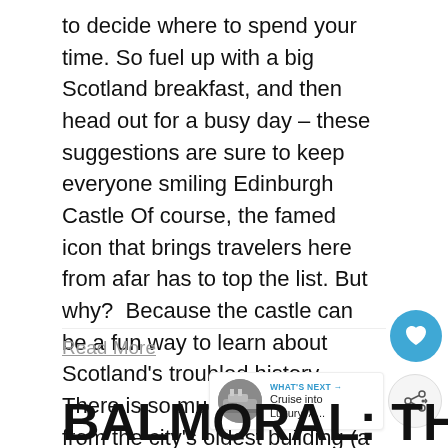to decide where to spend your time. So fuel up with a big Scotland breakfast, and then head out for a busy day – these suggestions are sure to keep everyone smiling Edinburgh Castle Of course, the famed icon that brings travelers here from afar has to top the list. But why?  Because the castle can be a fun way to learn about Scotland's troubled history.  There is so much to see here, from the city's oldest building (a small chapel) to [...]
Read More
[Figure (other): Heart/like icon button (teal circle with heart symbol)]
[Figure (other): Share icon button (light circle with share symbol)]
[Figure (other): What's Next panel with thumbnail image of cruise ship and text: WHAT'S NEXT → Cruise into Luxury: A...]
BALMORAL: THE QUEEN'S